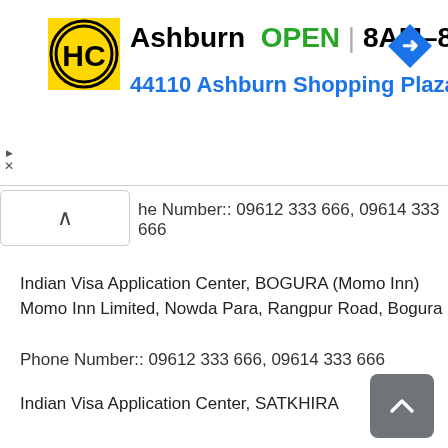[Figure (screenshot): Ad banner: HC logo (yellow/black), Ashburn OPEN 8AM-8PM, address 44110 Ashburn Shopping Plaza 1., navigation arrow icon]
ne Number:: 09612 333 666, 09614 333 666
Indian Visa Application Center, BOGURA (Momo Inn)
Momo Inn Limited, Nowda Para, Rangpur Road, Bogura
Phone Number:: 09612 333 666, 09614 333 666
Indian Visa Application Center, SATKHIRA
Sangram Market, First Floor, Etagacha, Bangaler More, Satkhira
Phone Number:: 09612 333 666, 09614 333 666